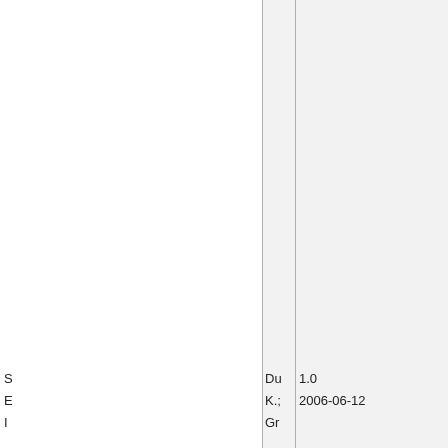| S | Du | 1.0 |
| --- | --- | --- |
| E | K.; | 2006-06-12 |
| I | Gr |  |